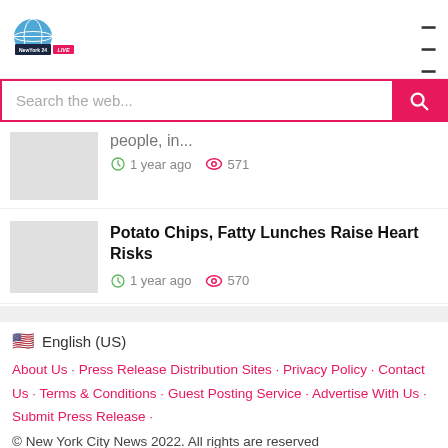NewYork 24 LIVE
Search the web...
people, in... 1 year ago 571
Potato Chips, Fatty Lunches Raise Heart Risks 1 year ago 570
English (US)
About Us · Press Release Distribution Sites · Privacy Policy · Contact Us · Terms & Conditions · Guest Posting Service · Advertise With Us · Submit Press Release ·
© New York City News 2022. All rights are reserved